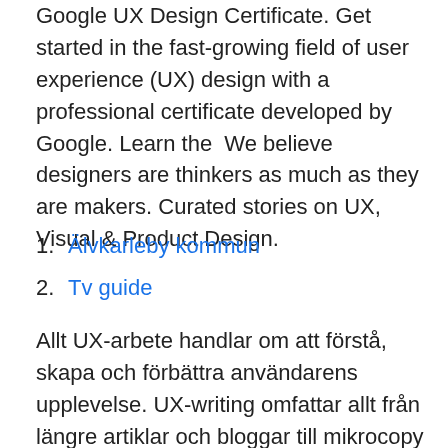Google UX Design Certificate. Get started in the fast-growing field of user experience (UX) design with a professional certificate developed by Google. Learn the  We believe designers are thinkers as much as they are makers. Curated stories on UX, Visual & Product Design.
1. Älvkarleby kommun
2. Tv guide
Allt UX-arbete handlar om att förstå, skapa och förbättra användarens upplevelse. UX-writing omfattar allt från längre artiklar och bloggar till mikrocopy för menyer, länkar och knapptexter – varje del är betydelsefull. Med bra UX-writing kan vem som helst förstå och använda din tjänst,